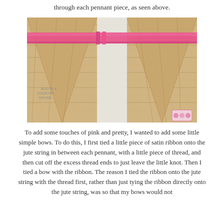through each pennant piece, as seen above.
[Figure (photo): Close-up photo of burlap pennant banner pieces threaded onto a pink satin ribbon/jute string, showing the tops of two triangular burlap pennants with a pink ribbon running through them. A watermark reading 'BOOTS & COUNTRY HOUSE' is visible in the bottom left corner.]
To add some touches of pink and pretty, I wanted to add some little simple bows. To do this, I first tied a little piece of satin ribbon onto the jute string in between each pennant, with a little piece of thread, and then cut off the excess thread ends to just leave the little knot.  Then I tied a bow with the ribbon. The reason I tied the ribbon onto the jute string with the thread first, rather than just tying the ribbon directly onto the jute string, was so that my bows would not